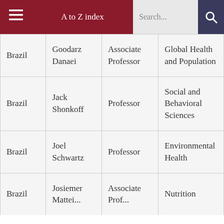A to Z index  Search...
| Brazil | Goodarz Danaei | Associate Professor | Global Health and Population |
| Brazil | Jack Shonkoff | Professor | Social and Behavioral Sciences |
| Brazil | Joel Schwartz | Professor | Environmental Health |
| Brazil | Josiemer ... | Associate Prof... | Nutrition |